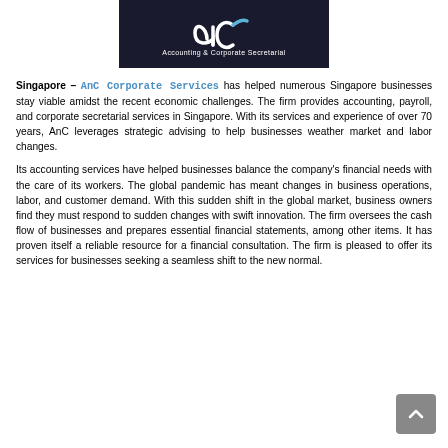[Figure (logo): AnC Corporate Services logo — dark background with stylized 'ac' letters in white and blue arc, tagline 'Accounting & Corporate Secretarial']
Singapore – AnC Corporate Services has helped numerous Singapore businesses stay viable amidst the recent economic challenges. The firm provides accounting, payroll, and corporate secretarial services in Singapore. With its services and experience of over 70 years, AnC leverages strategic advising to help businesses weather market and labor changes.
Its accounting services have helped businesses balance the company's financial needs with the care of its workers. The global pandemic has meant changes in business operations, labor, and customer demand. With this sudden shift in the global market, business owners find they must respond to sudden changes with swift innovation. The firm oversees the cash flow of businesses and prepares essential financial statements, among other items. It has proven itself a reliable resource for a financial consultation. The firm is pleased to offer its services for businesses seeking a seamless shift to the new normal.